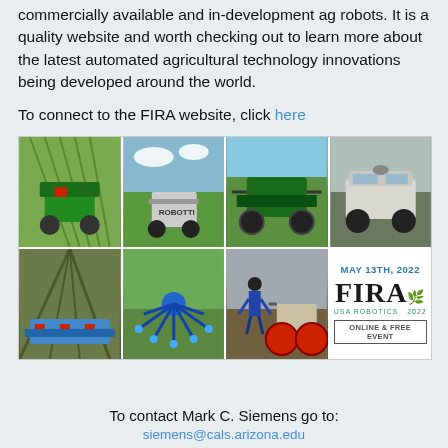commercially available and in-development ag robots. It is a quality website and worth checking out to learn more about the latest automated agricultural technology innovations being developed around the world.
To connect to the FIRA website, click here
[Figure (photo): Grid of 7 agricultural robot photos and 1 FIRA 2022 event panel showing various ag robots in fields, plus FIRA MAY 13TH 2022 ONLINE & FREE EVENT announcement]
To contact Mark C. Siemens go to:
siemens@cals.arizona.edu